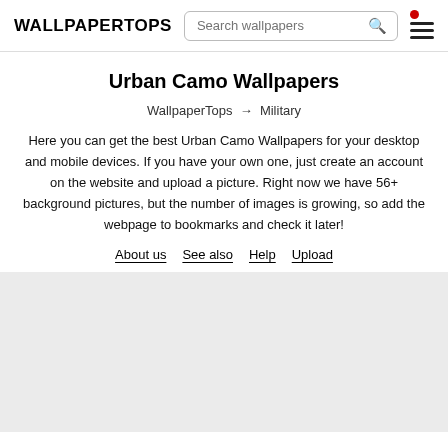WALLPAPERTOPS
Urban Camo Wallpapers
WallpaperTops → Military
Here you can get the best Urban Camo Wallpapers for your desktop and mobile devices. If you have your own one, just create an account on the website and upload a picture. Right now we have 56+ background pictures, but the number of images is growing, so add the webpage to bookmarks and check it later!
About us
See also
Help
Upload
[Figure (photo): Light gray placeholder image area for Urban Camo wallpaper thumbnails]